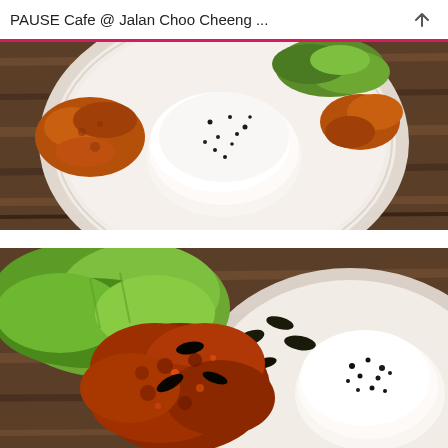PAUSE Cafe @ Jalan Choo Cheeng ...
[Figure (photo): Overhead view of a white ridged plate on a wooden table, with a dome of white rice sprinkled with black sesame seeds in the center, surrounded by fried chicken pieces and a green salad garnish.]
[Figure (photo): Close-up view of a white plate containing spiced fried chicken pieces with curry leaves and a dome of white rice sprinkled with black sesame seeds, accompanied by green lettuce leaves.]